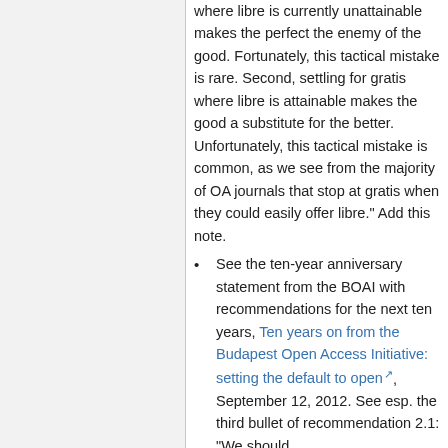where libre is currently unattainable makes the perfect the enemy of the good. Fortunately, this tactical mistake is rare. Second, settling for gratis where libre is attainable makes the good a substitute for the better. Unfortunately, this tactical mistake is common, as we see from the majority of OA journals that stop at gratis when they could easily offer libre." Add this note.
See the ten-year anniversary statement from the BOAI with recommendations for the next ten years, Ten years on from the Budapest Open Access Initiative: setting the default to open, September 12, 2012. See esp. the third bullet of recommendation 2.1: "We should